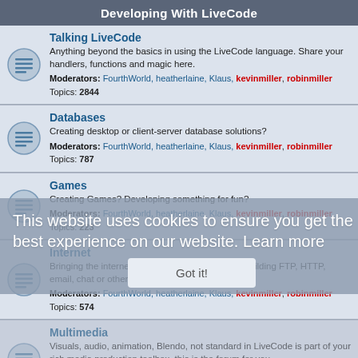Developing With LiveCode
Talking LiveCode
Anything beyond the basics in using the LiveCode language. Share your handlers, functions and magic here.
Moderators: FourthWorld, heatherlaine, Klaus, kevinmiller, robinmiller
Topics: 2844
Databases
Creating desktop or client-server database solutions?
Moderators: FourthWorld, heatherlaine, Klaus, kevinmiller, robinmiller
Topics: 787
Games
Creating Games? Developing something for fun?
Moderators: FourthWorld, heatherlaine, Klaus, kevinmiller, robinmiller
Topics: 223
Internet
Bringing the internet highway into your project? Building FTP, HTTP, email, chat or other client solutions?
Moderators: FourthWorld, heatherlaine, Klaus, kevinmiller, robinmiller
Topics: 574
Multimedia
Visuals, audio, animation, Blendo, not standard in LiveCode is part of your rich media production toolbox, this is the forum for you.
Moderators: FourthWorld, heatherlaine, Klaus, kevinmiller, robinmiller
Topics: 445
Software Engineering
Stop by to discuss use cases, requirements, information architecture, flow diagraming, unit testing and usability.
Moderators: FourthWorld, Klaus
This website uses cookies to ensure you get the best experience on our website. Learn more
Got it!